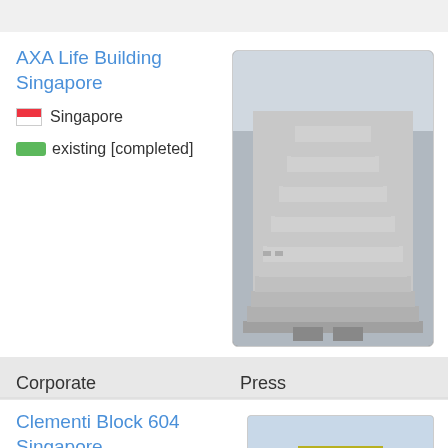AXA Life Building Singapore
Singapore
existing [completed]
[Figure (photo): Photo of AXA Life Building Singapore — multi-storey stepped facade building]
Clementi Block 604 Singapore
Singapore
existing [completed]
[Figure (photo): Photo of Clementi Block 604 Singapore — tall residential tower block]
Featured in:
[Figure (logo): Yahoo! Finance logo]
[Figure (logo): Business Journal logo]
[Figure (logo): Reuters logo]
[Figure (logo): CNN logo]
[Figure (logo): The Times logo]
Toa Payoh Block 01x Singapore
Singapore
Corporate    Press